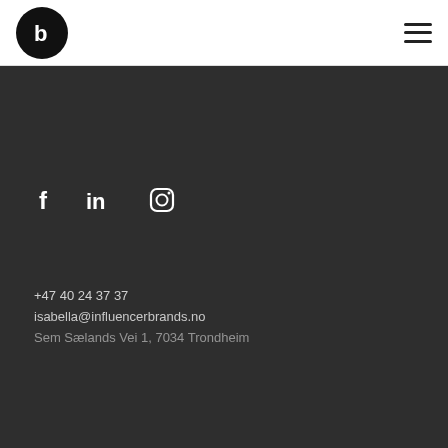[Figure (logo): Circular black logo with white 'b' icon — Influencer Brands brand mark]
[Figure (other): Hamburger menu icon (three horizontal lines)]
[Figure (other): Social media icons row: Facebook (f), LinkedIn (in), Instagram (camera outline)]
+47 40 24 37 37
isabella@influencerbrands.no
Sem Sælands Vei 1, 7034 Trondheim